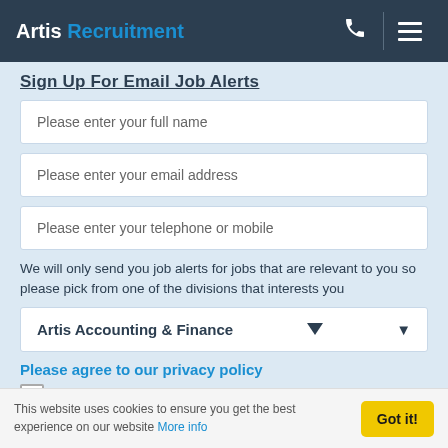Artis Recruitment
Sign Up For Email Job Alerts
Please enter your full name
Please enter your email address
Please enter your telephone or mobile
We will only send you job alerts for jobs that are relevant to you so please pick from one of the divisions that interests you
Artis Accounting & Finance
Please agree to our privacy policy
This website uses cookies to ensure you get the best experience on our website More info
Got it!